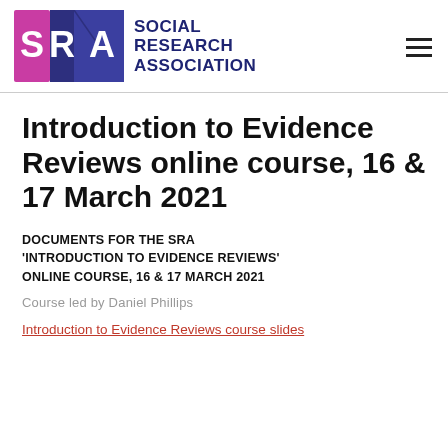[Figure (logo): Social Research Association logo with SRA letters in pink/purple and dark blue book-like shapes, next to the text SOCIAL RESEARCH ASSOCIATION in dark navy bold]
Introduction to Evidence Reviews online course, 16 & 17 March 2021
DOCUMENTS FOR THE SRA 'INTRODUCTION TO EVIDENCE REVIEWS' ONLINE COURSE, 16 & 17 MARCH 2021
Course led by Daniel Phillips
Introduction to Evidence Reviews course slides